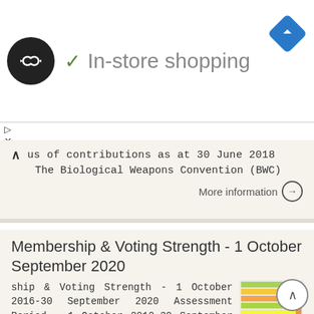[Figure (logo): Black circle logo with infinity-style double arrow symbol, next to green checkmark and 'In-store shopping' text, with blue navigation diamond on right]
us of contributions as at 30 June 2018
The Biological Weapons Convention (BWC)
More information →
Membership & Voting Strength - 1 October September 2020
ship & Voting Strength - 1 October 2016-30 September 2020 Assessment Period - 1 October 2012-30 September 2016 Junior Team Championships Junior - Championships Junior - Championships Junior - Africa 1
[Figure (table-as-image): Colorful table/chart thumbnail showing membership and voting strength data with colored rows]
More information →